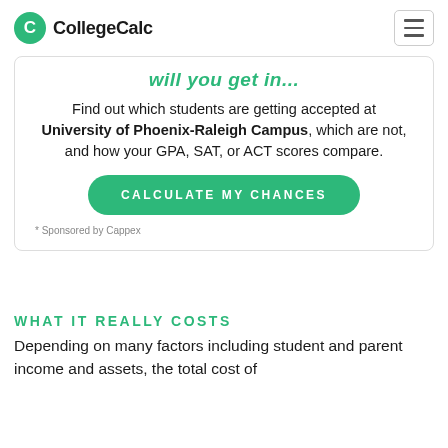CollegeCalc
will you get in...
Find out which students are getting accepted at University of Phoenix-Raleigh Campus, which are not, and how your GPA, SAT, or ACT scores compare.
CALCULATE MY CHANCES
Sponsored by Cappex
WHAT IT REALLY COSTS
Depending on many factors including student and parent income and assets, the total cost of